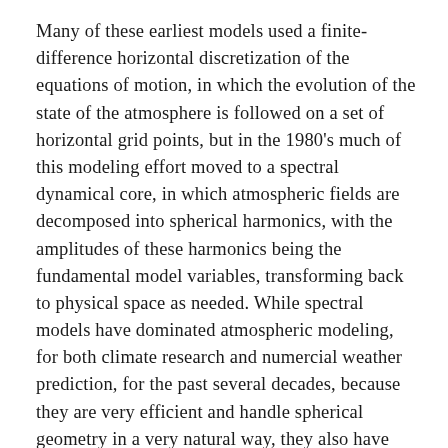Many of these earliest models used a finite-difference horizontal discretization of the equations of motion, in which the evolution of the state of the atmosphere is followed on a set of horizontal grid points, but in the 1980's much of this modeling effort moved to a spectral dynamical core, in which atmospheric fields are decomposed into spherical harmonics, with the amplitudes of these harmonics being the fundamental model variables, transforming back to physical space as needed. While spectral models have dominated atmospheric modeling, for both climate research and numercial weather prediction, for the past several decades, because they are very efficient and handle spherical geometry in a very natural way, they also have significant deficiencies, most notably a difficulty in treating the Earth's topography without creating artificial wave-like features (Gibbs' ripples) in the height of the surface.